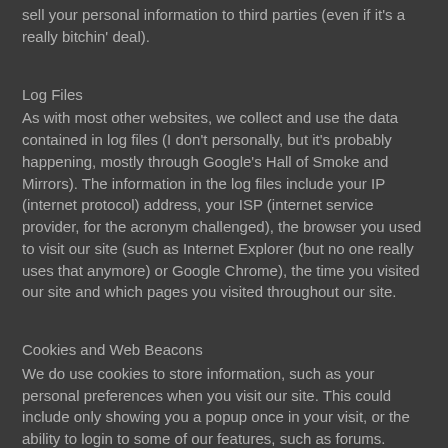sell your personal information to third parties (even if it's a really bitchin' deal).
Log Files
As with most other websites, we collect and use the data contained in log files (I don't personally, but it's probably happening, mostly through Google's Hall of Smoke and Mirrors).  The information in the log files include  your IP (internet protocol) address, your ISP (internet service provider, for the acronym challenged), the browser you used to visit our site (such as Internet Explorer (but no one really uses that anymore) or Google Chrome), the time you visited our site and which pages you visited throughout our site.
Cookies and Web Beacons
We do use cookies to store information, such as your personal preferences when you visit our site.  This could include only showing you a popup once in your visit, or the ability to login to some of our features, such as forums.
We also use third party advertisements on ryviews.com to support our site.  Some of these advertisers may use technology such as cookies and web beacons when they advertise on our site, which